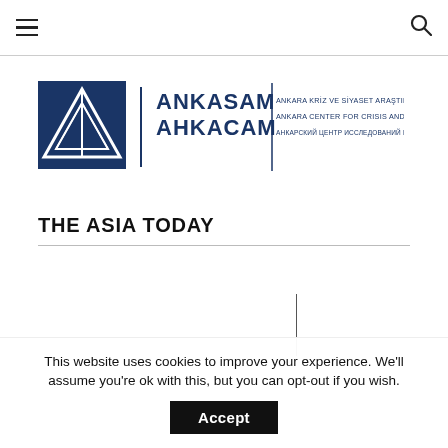ANKASAM | AHKACAM — Navigation bar with hamburger menu and search icon
[Figure (logo): ANKASAM / AHKACAM logo: dark blue square with white triangle/arrow emblem, followed by bold text ANKASAM / AHKACAM with vertical divider and multilingual subtitle text in Turkish, English, and Russian.]
THE ASIA TODAY
This website uses cookies to improve your experience. We'll assume you're ok with this, but you can opt-out if you wish.